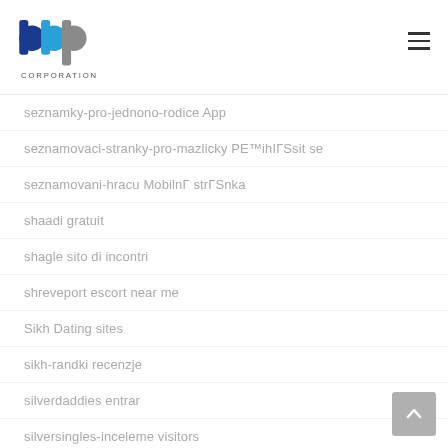BBP Corporation logo and navigation
seznamky-pro-jednono-rodice App
seznamovaci-stranky-pro-mazlicky PЕ™ihlГЅsit se
seznamovani-hracu MobilnГ strГЅnka
shaadi gratuit
shagle sito di incontri
shreveport escort near me
Sikh Dating sites
sikh-randki recenzje
silverdaddies entrar
silversingles-inceleme visitors